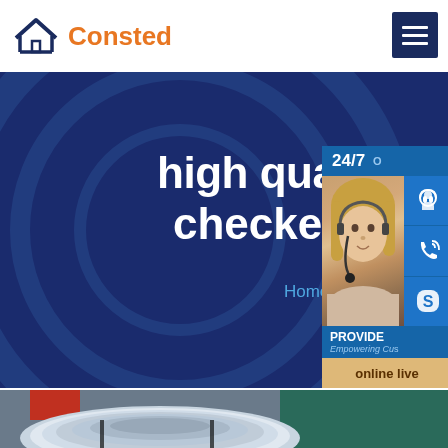[Figure (logo): Consted company logo with house icon in dark blue and orange text]
[Figure (screenshot): Navigation menu hamburger button in dark navy blue]
high quality 4mm m checker sheet pla
Home » AH36 steel
[Figure (infographic): Customer support widget showing 24/7 label, woman with headset photo, headset icon, phone icon, Skype icon, PROVIDE / Empowering Cu... text, and online live button]
[Figure (photo): Metal coil / steel roll product photo in warehouse setting]